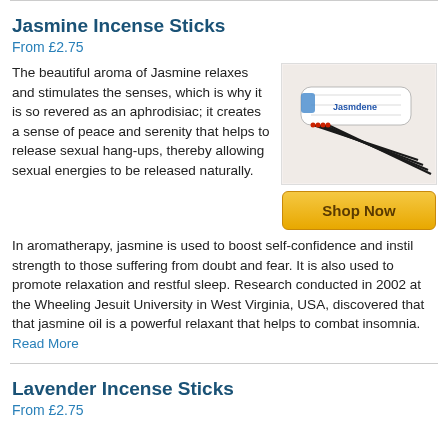Jasmine Incense Sticks
From £2.75
The beautiful aroma of Jasmine relaxes and stimulates the senses, which is why it is so revered as an aphrodisiac; it creates a sense of peace and serenity that helps to release sexual hang-ups, thereby allowing sexual energies to be released naturally.
[Figure (photo): Photo of Jasmine Incense Sticks package with black incense sticks fanned out in front]
In aromatherapy, jasmine is used to boost self-confidence and instil strength to those suffering from doubt and fear. It is also used to promote relaxation and restful sleep. Research conducted in 2002 at the Wheeling Jesuit University in West Virginia, USA, discovered that that jasmine oil is a powerful relaxant that helps to combat insomnia. Read More
Lavender Incense Sticks
From £2.75